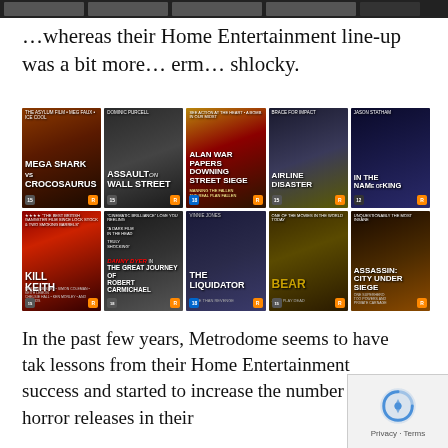[Figure (photo): Top strip showing partial movie cover thumbnails in dark background]
…whereas their Home Entertainment line-up was a bit more… erm… shlocky.
[Figure (photo): Grid of 10 DVD movie covers including: Mega Shark vs Crocosaurus, Assault on Wall Street, Downing Street Siege, Airline Disaster, In the Name of the King, Kill Keith, Danny Dyer in The Great Robbery of Robert Carmichael, The Liquidator (Vinnie Jones), Bear, Assassin: City Under Siege]
In the past few years, Metrodome seems to have tak lessons from their Home Entertainment success and started to increase the number of horror releases in their